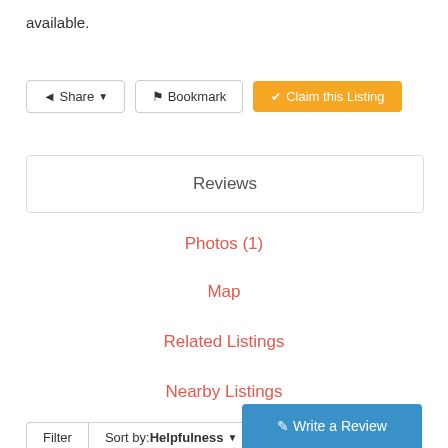available.
Share  Bookmark  Claim this Listing
Reviews
Photos (1)
Map
Related Listings
Nearby Listings
Filter  Sort by: Helpfulness
Write a Review